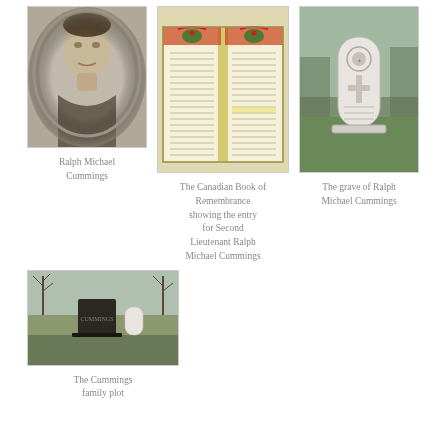[Figure (photo): Black and white oval portrait photo of Ralph Michael Cummings in military uniform]
Ralph Michael Cummings
[Figure (photo): The Canadian Book of Remembrance showing the entry for Second Lieutenant Ralph Michael Cummings — an open decorated book with columns of names]
The Canadian Book of Remembrance showing the entry for Second Lieutenant Ralph Michael Cummings
[Figure (photo): The grave of Ralph Michael Cummings — a white military headstone with cross and badge in a grassy cemetery]
The grave of Ralph Michael Cummings
[Figure (photo): The Cummings family plot — a cemetery scene with dark family monument and white grave marker among bare trees]
The Cummings family plot